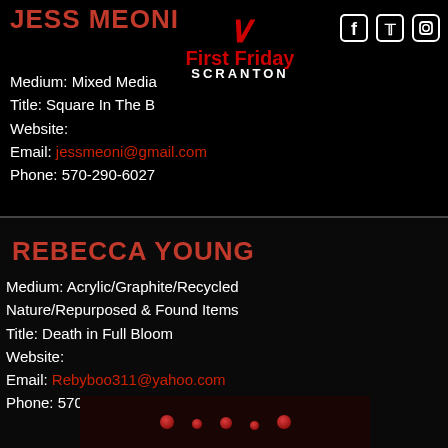JESS MEONI
Medium: Mixed Media
Title: Square In The B[loom?]
Website:
Email: jessmeoni@gmail.com
Phone: 570-290-6027
[Figure (logo): First Friday Scranton logo with red V chevron above red 'First Friday' text and white 'SCRANTON' text]
[Figure (infographic): Social media icons: Facebook, Twitter, Instagram]
REBECCA YOUNG
Medium: Acrylic/Graphite/Recycled Nature/Repurposed & Found Items
Title: Death in Full Bloom
Website:
Email: Rebyboo311@yahoo.com
Phone: 570-575-2229
[Figure (photo): Dark photo showing small red glowing objects resembling berries or flowers on a dark background]